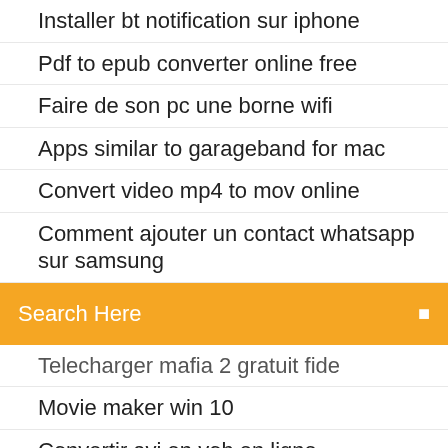Installer bt notification sur iphone
Pdf to epub converter online free
Faire de son pc une borne wifi
Apps similar to garageband for mac
Convert video mp4 to mov online
Comment ajouter un contact whatsapp sur samsung
[Figure (screenshot): Orange search bar with text 'Search Here' and a search icon on the right]
Telecharger mafia 2 gratuit fide
Movie maker win 10
Convertir avi en vob en ligne
Emulateur nintendo ds android apk
Télécharger the sims 4 mac
دانلود world of warcraft classic
Windows service pack 3 télécharger
Jeux cartes gratuits windows 7
Télécharger teamspeak 3 client free
Mozilla firefox windows 7 64 bits español
Mise à jour pilote wifi windows 7